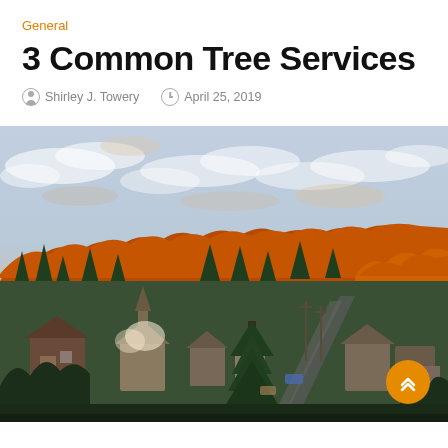General
3 Common Tree Services
Shirley J. Towery   April 25, 2019
[Figure (photo): Aerial view of a residential neighborhood surrounded by autumn trees with orange and red foliage, under a partly cloudy sky at dusk or dawn.]